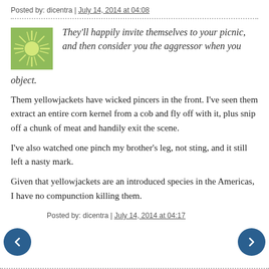Posted by: dicentra | July 14, 2014 at 04:08
They'll happily invite themselves to your picnic, and then consider you the aggressor when you object.
Them yellowjackets have wicked pincers in the front. I've seen them extract an entire corn kernel from a cob and fly off with it, plus snip off a chunk of meat and handily exit the scene.
I've also watched one pinch my brother's leg, not sting, and it still left a nasty mark.
Given that yellowjackets are an introduced species in the Americas, I have no compunction killing them.
Posted by: dicentra | July 14, 2014 at 04:17